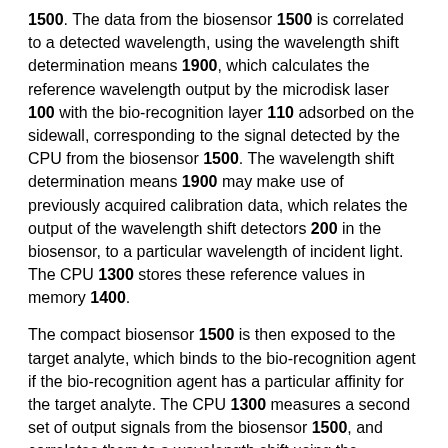1500. The data from the biosensor 1500 is correlated to a detected wavelength, using the wavelength shift determination means 1900, which calculates the reference wavelength output by the microdisk laser 100 with the bio-recognition layer 110 adsorbed on the sidewall, corresponding to the signal detected by the CPU from the biosensor 1500. The wavelength shift determination means 1900 may make use of previously acquired calibration data, which relates the output of the wavelength shift detectors 200 in the biosensor, to a particular wavelength of incident light. The CPU 1300 stores these reference values in memory 1400.
The compact biosensor 1500 is then exposed to the target analyte, which binds to the bio-recognition agent if the bio-recognition agent has a particular affinity for the target analyte. The CPU 1300 measures a second set of output signals from the biosensor 1500, and correlates them to a wavelength shift using the wavelength shift determination means 1900. A shifted wavelength is then calculated by the CPU 1300, wherein the magnitude of the wavelength shift can be related to the mass load adsorbed on the sidewalls of the microdisk laser. The CPU outputs the